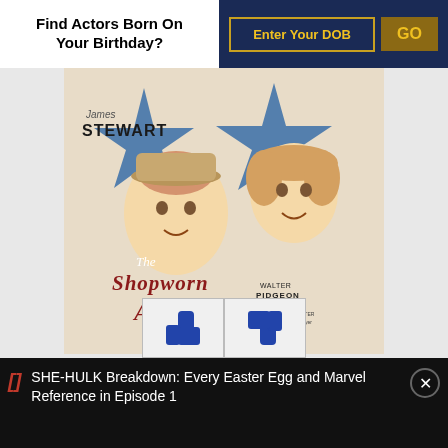Find Actors Born On Your Birthday?
Enter Your DOB
GO
[Figure (illustration): Vintage movie poster for 'The Shopworn Angel' featuring James Stewart and Walter Pidgeon, with illustrated portraits of two actors against blue star shapes and stylized red script lettering]
SHE-HULK Breakdown: Every Easter Egg and Marvel Reference in Episode 1